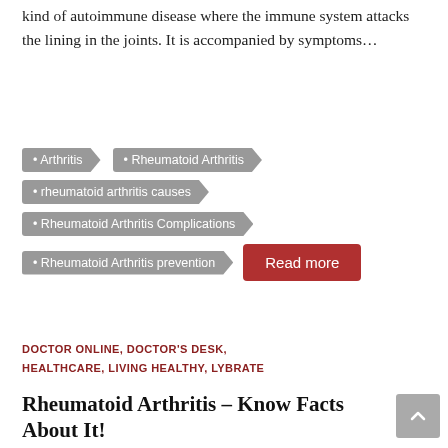kind of autoimmune disease where the immune system attacks the lining in the joints. It is accompanied by symptoms…
• Arthritis
• Rheumatoid Arthritis
• rheumatoid arthritis causes
• Rheumatoid Arthritis Complications
• Rheumatoid Arthritis prevention
Read more
DOCTOR ONLINE, DOCTOR'S DESK, HEALTHCARE, LIVING HEALTHY, LYBRATE
Rheumatoid Arthritis – Know Facts About It!
Doctors Desk   February 20, 2019
By Dr. K Shanmuganandan, Rheumatology Autoimmune diseases are the result of a defective immune system where the immune…